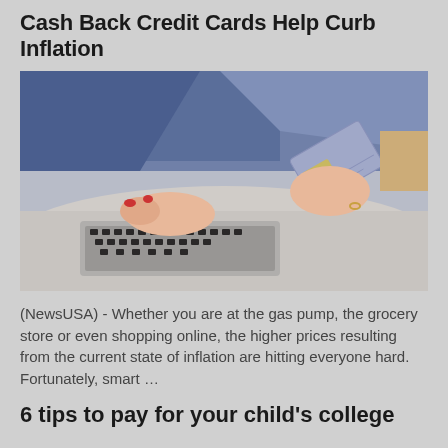Cash Back Credit Cards Help Curb Inflation
[Figure (photo): Person holding a credit card in one hand and typing on a laptop keyboard with the other hand, shown from chest down]
(NewsUSA) - Whether you are at the gas pump, the grocery store or even shopping online, the higher prices resulting from the current state of inflation are hitting everyone hard. Fortunately, smart …
6 tips to pay for your child's college